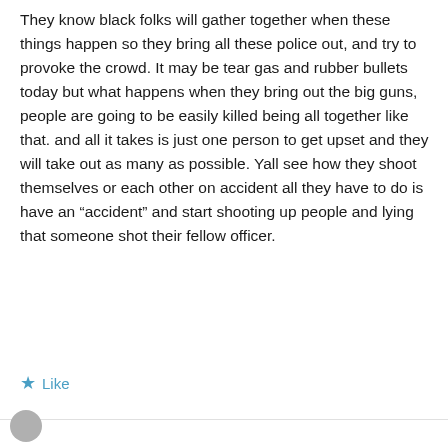They know black folks will gather together when these things happen so they bring all these police out, and try to provoke the crowd. It may be tear gas and rubber bullets today but what happens when they bring out the big guns, people are going to be easily killed being all together like that. and all it takes is just one person to get upset and they will take out as many as possible. Yall see how they shoot themselves or each other on accident all they have to do is have an “accident” and start shooting up people and lying that someone shot their fellow officer.
Like